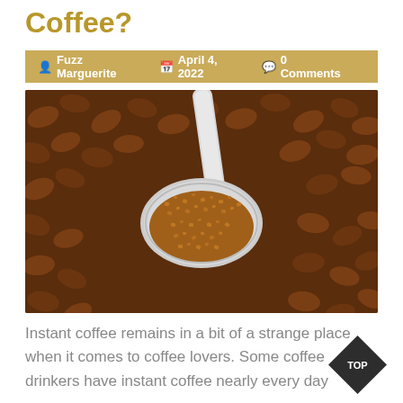Coffee?
Fuzz Marguerite   April 4, 2022   0 Comments
[Figure (photo): Close-up photo of a silver spoon holding instant coffee granules over a background of roasted coffee beans]
Instant coffee remains in a bit of a strange place when it comes to coffee lovers. Some coffee drinkers have instant coffee nearly every day